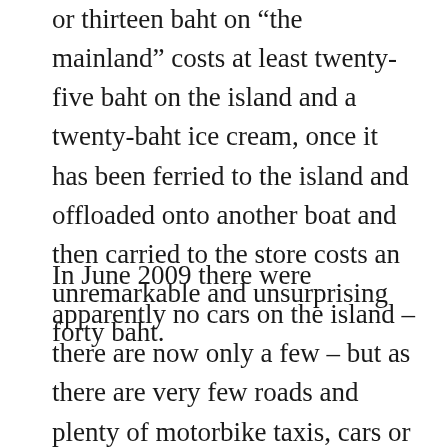or thirteen baht on “the mainland” costs at least twenty-five baht on the island and a twenty-baht ice cream, once it has been ferried to the island and offloaded onto another boat and then carried to the store costs an unremarkable and unsurprising forty baht.
In June 2009 there were apparently no cars on the island – there are now only a few – but as there are very few roads and plenty of motorbike taxis, cars or trucks are not really necessary. Visitors can walk around the whole island in a couple of hours – unless they get lost –